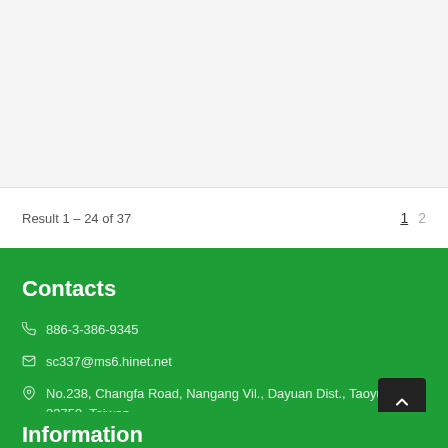Result 1 – 24 of 37
1  2
Contacts
886-3-386-9345
sc337@ms6.hinet.net
No.238, Changfa Road, Nangang Vil., Dayuan Dist., Taoyuan City 33759, Taiwan
Information